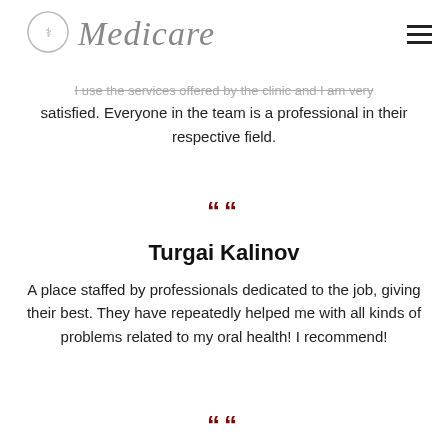Medicare
I use the services offered by the clinic and I am very satisfied. Everyone in the team is a professional in their respective field.
““
Turgai Kalinov
A place staffed by professionals dedicated to the job, giving their best. They have repeatedly helped me with all kinds of problems related to my oral health! I recommend!
““